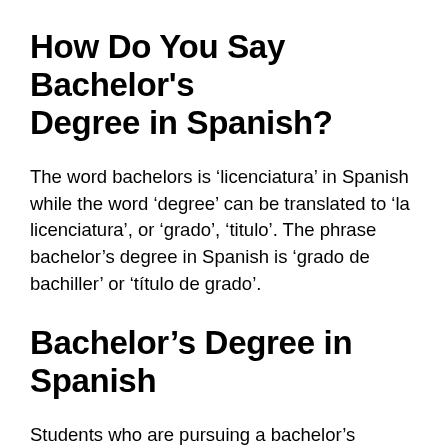How Do You Say Bachelor’s Degree in Spanish?
The word bachelors is ‘licenciatura’ in Spanish while the word ‘degree’ can be translated to ‘la licenciatura’, or ‘grado’, ‘titulo’. The phrase bachelor’s degree in Spanish is ‘grado de bachiller’ or ‘título de grado’.
Bachelor’s Degree in Spanish
Students who are pursuing a bachelor’s degree in the Spanish language allows them to become fluent in the language. It also gives them